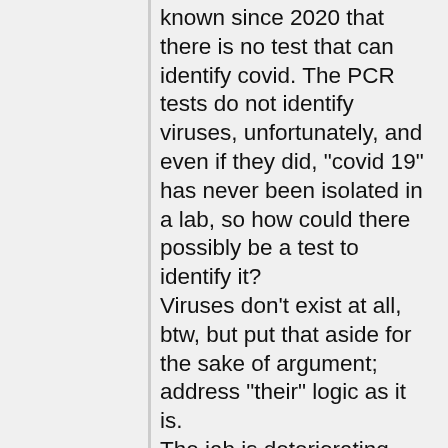known since 2020 that there is no test that can identify covid. The PCR tests do not identify viruses, unfortunately, and even if they did, "covid 19" has never been isolated in a lab, so how could there possibly be a test to identify it?
Viruses don't exist at all, btw, but put that aside for the sake of argument; address "their" logic as it is.
The jab is deteriorating people's health, and their refusal to admit it (both health professionals and normal people) results in a constant pointing of the finger at the boogieman called covid. Everything is covid now! Any symptom or deleterious health effect is caused by covid!